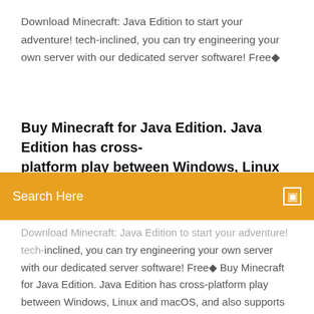Download Minecraft: Java Edition to start your adventure! tech-inclined, you can try engineering your own server with our dedicated server software! Free◆
Buy Minecraft for Java Edition. Java Edition has cross-platform play between Windows, Linux and macOS...
[Figure (screenshot): Orange search bar overlay with 'Search Here' text in white and a small icon on the right]
Download Minecraft: Java Edition to start your adventure! tech-inclined, you can try engineering your own server with our dedicated server software! Free◆ Buy Minecraft for Java Edition. Java Edition has cross-platform play between Windows, Linux and macOS, and also supports Free trial version available. 25 Aug 2019 HOW TO DOWNLOAD MINECRAFT JAVA EDITION FOR FREE IN PC 100%WORKING IN 2 MINUTES IN HINDI MINECRAFT LINK◆ 31 Jan 2018 New Video !! How To Download Minecraft Windows 10 Edition For Free !! Link: https://www.youtube.com/watch?v=BgoBx8y_-T8◆ Minecraft is